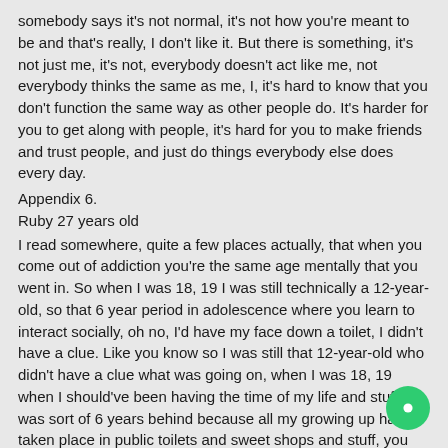somebody says it's not normal, it's not how you're meant to be and that's really, I don't like it. But there is something, it's not just me, it's not, everybody doesn't act like me, not everybody thinks the same as me, I, it's hard to know that you don't function the same way as other people do. It's harder for you to get along with people, it's hard for you to make friends and trust people, and just do things everybody else does every day.
Appendix 6.
Ruby 27 years old
I read somewhere, quite a few places actually, that when you come out of addiction you're the same age mentally that you went in. So when I was 18, 19 I was still technically a 12-year-old, so that 6 year period in adolescence where you learn to interact socially, oh no, I'd have my face down a toilet, I didn't have a clue. Like you know so I was still that 12-year-old who didn't have a clue what was going on, when I was 18, 19 when I should've been having the time of my life and stuff, I was sort of 6 years behind because all my growing up had taken place in public toilets and sweet shops and stuff, you know and like lonely, lonely times in sweet shops and stuff you know, not the sort hanging out with friends or anything like tha... I did find it, incredibly, because you know 'cos at the end of the day I